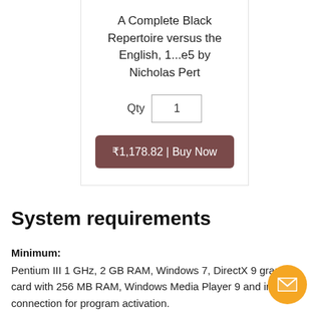A Complete Black Repertoire versus the English, 1...e5 by Nicholas Pert
Qty  1
₹1,178.82 | Buy Now
System requirements
Minimum:
Pentium III 1 GHz, 2 GB RAM, Windows 7, DirectX 9 graphics card with 256 MB RAM, Windows Media Player 9 and internet connection for program activation.